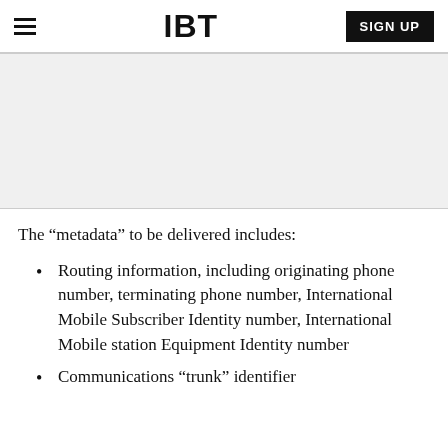IBT | SIGN UP
[Figure (other): Advertisement banner placeholder, light gray background]
The “metadata” to be delivered includes:
Routing information, including originating phone number, terminating phone number, International Mobile Subscriber Identity number, International Mobile station Equipment Identity number
Communications “trunk” identifier